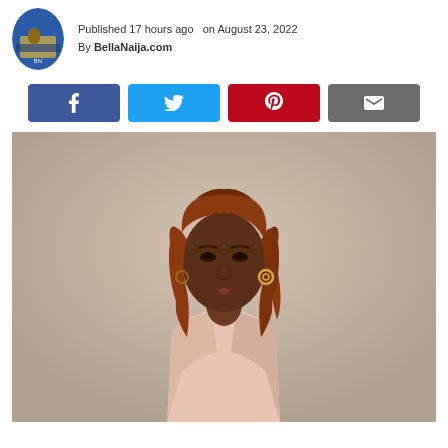Published 17 hours ago  on August 23, 2022
By BellaNaija.com
[Figure (other): Social share buttons: Facebook (blue), Twitter (light blue), Pinterest (red), Email (gray)]
[Figure (photo): Portrait photo of a dark-skinned woman with long auburn/red wavy hair, wearing a blush/peach blazer suit, posed against a neutral beige-gray studio background. She has hoop earrings and is looking slightly off-camera.]